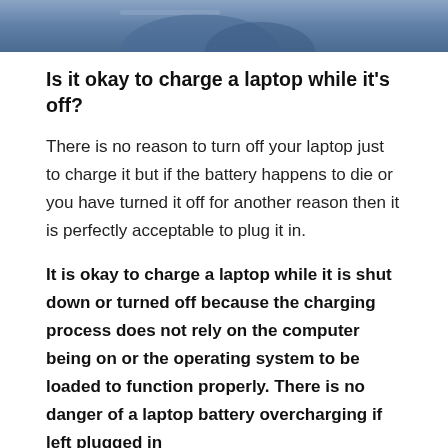[Figure (photo): Partial photo of a person holding a laptop, cropped at top of page]
Is it okay to charge a laptop while it's off?
There is no reason to turn off your laptop just to charge it but if the battery happens to die or you have turned it off for another reason then it is perfectly acceptable to plug it in.
It is okay to charge a laptop while it is shut down or turned off because the charging process does not rely on the computer being on or the operating system to be loaded to function properly. There is no danger of a laptop battery overcharging if left plugged in